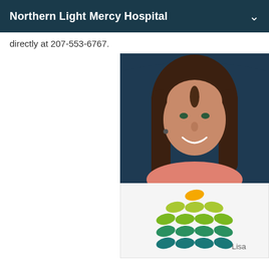Northern Light Mercy Hospital
directly at 207-553-6767.
[Figure (photo): Headshot photo of a smiling woman with long brown hair against a dark blue background]
[Figure (logo): Northern Light Health logo — rows of leaf/eye shapes in orange, yellow-green, green, and teal, with the name 'Lisa' visible below]